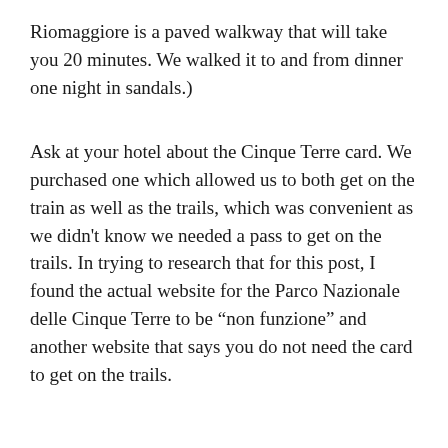Riomaggiore is a paved walkway that will take you 20 minutes. We walked it to and from dinner one night in sandals.)
Ask at your hotel about the Cinque Terre card. We purchased one which allowed us to both get on the train as well as the trails, which was convenient as we didn't know we needed a pass to get on the trails. In trying to research that for this post, I found the actual website for the Parco Nazionale delle Cinque Terre to be “non funzione” and another website that says you do not need the card to get on the trails.